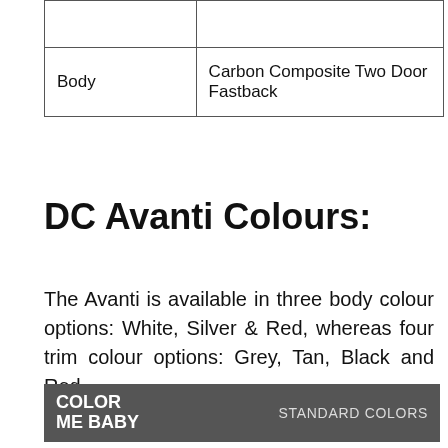|  |  |
| Body | Carbon Composite Two Door Fastback |
DC Avanti Colours:
The Avanti is available in three body colour options: White, Silver & Red, whereas four trim colour options: Grey, Tan, Black and Red.
[Figure (other): Color Me Baby banner showing 'COLOR ME BABY' on the left and 'STANDARD COLORS' on the right, dark grey background with white text]